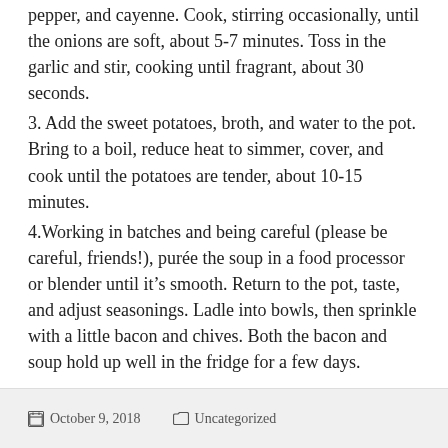pepper, and cayenne. Cook, stirring occasionally, until the onions are soft, about 5-7 minutes. Toss in the garlic and stir, cooking until fragrant, about 30 seconds.
3. Add the sweet potatoes, broth, and water to the pot. Bring to a boil, reduce heat to simmer, cover, and cook until the potatoes are tender, about 10-15 minutes.
4.Working in batches and being careful (please be careful, friends!), purée the soup in a food processor or blender until it's smooth. Return to the pot, taste, and adjust seasonings. Ladle into bowls, then sprinkle with a little bacon and chives. Both the bacon and soup hold up well in the fridge for a few days.
October 9, 2018   Uncategorized